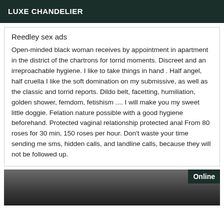LUXE CHANDELIER
Reedley sex ads
Open-minded black woman receives by appointment in apartment in the district of the chartrons for torrid moments. Discreet and an irreproachable hygiene. I like to take things in hand . Half angel, half cruella I like the soft domination on my submissive, as well as the classic and torrid reports. Dildo belt, facetting, humiliation, golden shower, femdom, fetishism .... I will make you my sweet little doggie. Felation nature possible with a good hygiene beforehand. Protected vaginal relationship protected anal From 80 roses for 30 min, 150 roses per hour. Don't waste your time sending me sms, hidden calls, and landline calls, because they will not be followed up.
[Figure (photo): Partial image of a person at bottom of page with an 'Online' badge overlay in the top-right corner]